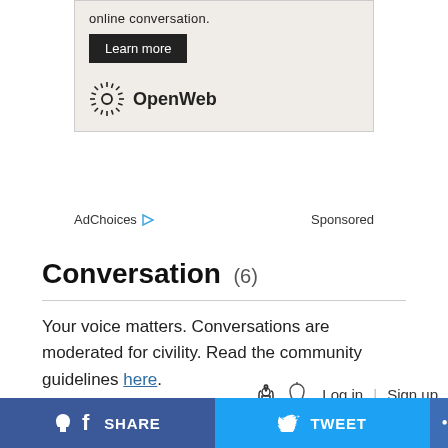[Figure (screenshot): OpenWeb advertisement box with 'Learn more' button and OpenWeb logo]
AdChoices ▷   Sponsored
Conversation (6)
Your voice matters. Conversations are moderated for civility. Read the community guidelines here.
🔔  Log in | Sign up
What do you think?
Sort by Best ∨
f SHARE   🐦 TWEET   •••